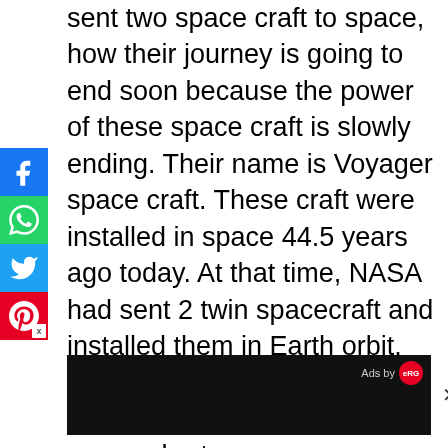sent two space craft to space, how their journey is going to end soon because the power of these space craft is slowly ending. Their name is Voyager space craft. These craft were installed in space 44.5 years ago today. At that time, NASA had sent 2 twin spacecraft and installed them in Earth orbit. Now both the spacecraft are going to be shut down due to power shortage.
[Figure (other): Social media share buttons: Facebook (blue), WhatsApp (green), Twitter (blue), Pinterest (red with close X)]
[Figure (other): Advertisement banner: black background with 'Ads by eRG' logo in top right and close X button on the right side]